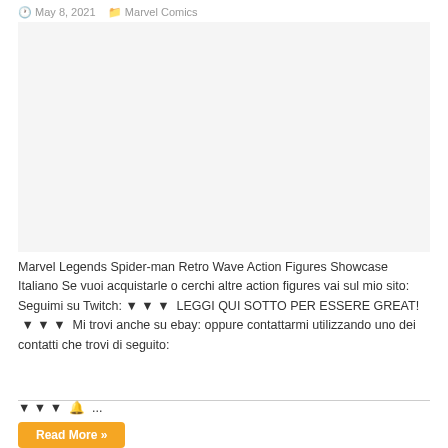May 8, 2021   Marvel Comics
[Figure (photo): Blank/white placeholder image area for Marvel Legends Spider-man Retro Wave Action Figures video thumbnail]
Marvel Legends Spider-man Retro Wave Action Figures Showcase Italiano Se vuoi acquistarle o cerchi altre action figures vai sul mio sito: Seguimi su Twitch: ▼ ▼ ▼  LEGGI QUI SOTTO PER ESSERE GREAT!  ▼ ▼ ▼  Mi trovi anche su ebay: oppure contattarmi utilizzando uno dei contatti che trovi di seguito:
▼ ▼ ▼  🔔 ...
Read More »